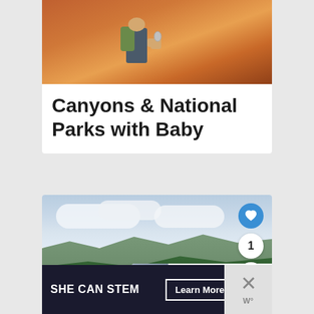[Figure (photo): Top portion of a card showing a person in a canyon with orange rock walls, person carrying a backpack]
Canyons & National Parks with Baby
[Figure (photo): Landscape photo showing a child in a pink shirt from behind, looking out over a mountain valley with cloudy sky. Heart/like button, share count of 1, and share button visible on right side. 'What's Next' panel showing 'Plan Your London...' with thumbnail.]
[Figure (infographic): Ad banner: SHE CAN STEM - Learn More - STEM logo grid - ad council logo]